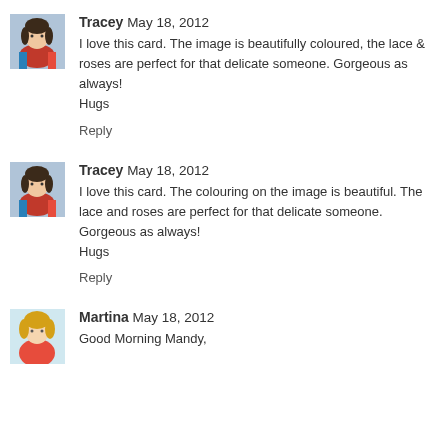[Figure (photo): Avatar photo of Tracey, a woman with dark hair]
Tracey May 18, 2012
I love this card. The image is beautifully coloured, the lace & roses are perfect for that delicate someone. Gorgeous as always!
Hugs
Reply
[Figure (photo): Avatar photo of Tracey, a woman with dark hair]
Tracey May 18, 2012
I love this card. The colouring on the image is beautiful. The lace and roses are perfect for that delicate someone. Gorgeous as always!
Hugs
Reply
[Figure (photo): Avatar photo of Martina, a woman with blonde hair]
Martina May 18, 2012
Good Morning Mandy,